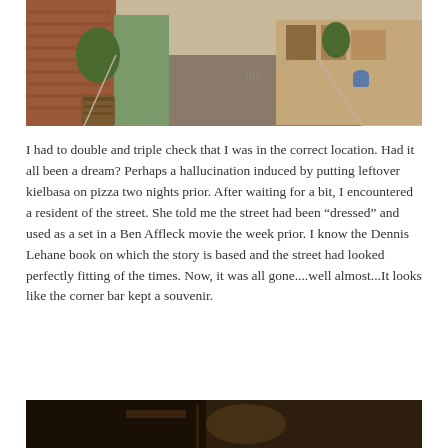[Figure (photo): A narrow urban alley or street lined with brick buildings, trees in planters, and parked items along the sidewalk. The street recedes into the distance with warm lighting.]
I had to double and triple check that I was in the correct location. Had it all been a dream? Perhaps a hallucination induced by putting leftover kielbasa on pizza two nights prior. After waiting for a bit, I encountered a resident of the street. She told me the street had been “dressed” and used as a set in a Ben Affleck movie the week prior. I know the Dennis Lehane book on which the story is based and the street had looked perfectly fitting of the times. Now, it was all gone....well almost...It looks like the corner bar kept a souvenir.
[Figure (photo): A dark interior photo, partially visible, appearing to show the inside of a bar or establishment.]